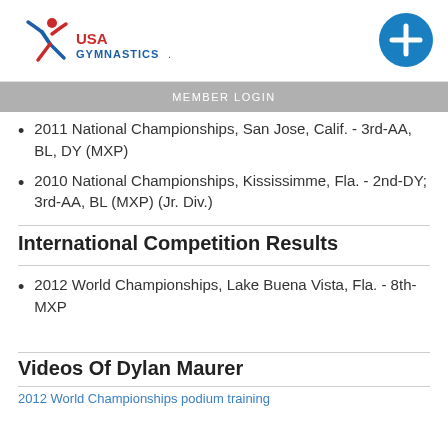USA Gymnastics
MEMBER LOGIN
2011 National Championships, San Jose, Calif. - 3rd-AA, BL, DY (MXP)
2010 National Championships, Kississimme, Fla. - 2nd-DY; 3rd-AA, BL (MXP) (Jr. Div.)
International Competition Results
2012 World Championships, Lake Buena Vista, Fla. - 8th-MXP
Videos Of Dylan Maurer
2012 World Championships podium training